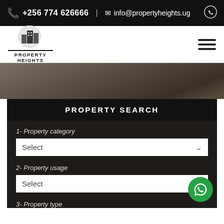+256 774 626666 | info@propertyheights.ug
[Figure (logo): Property Heights logo with building silhouette icon and text PROPERTY HEIGHTS]
PROPERTY SEARCH
1- Property category
Select
2- Property usage
Select
3- Property type